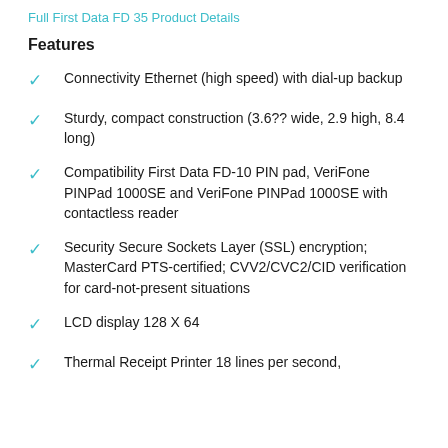Full First Data FD 35 Product Details
Features
Connectivity Ethernet (high speed) with dial-up backup
Sturdy, compact construction (3.6?? wide, 2.9 high, 8.4 long)
Compatibility First Data FD-10 PIN pad, VeriFone PINPad 1000SE and VeriFone PINPad 1000SE with contactless reader
Security Secure Sockets Layer (SSL) encryption; MasterCard PTS-certified; CVV2/CVC2/CID verification for card-not-present situations
LCD display 128 X 64
Thermal Receipt Printer 18 lines per second,